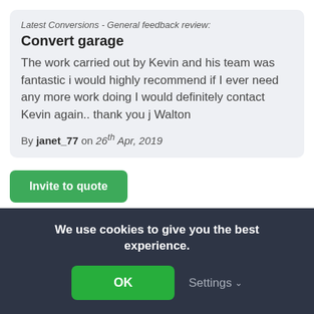Latest Conversions - General feedback review:
Convert garage
The work carried out by Kevin and his team was fantastic i would highly recommend if I ever need any more work doing I would definitely contact Kevin again.. thank you j Walton
By janet_77 on 26th Apr, 2019
Invite to quote
JD Joinery/Construction
3 Feedback reviews, 100% positive
We use cookies to give you the best experience.
OK
Settings